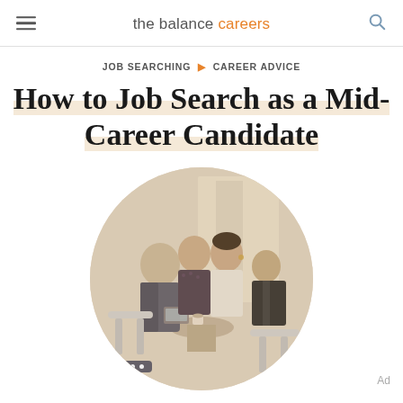the balance careers
JOB SEARCHING ▶ CAREER ADVICE
How to Job Search as a Mid-Career Candidate
[Figure (photo): A group of professionals — two men and two women — sitting around a small café table, having a discussion with a tablet device, rendered in sepia/monochrome tones. The image is cropped in a circle shape.]